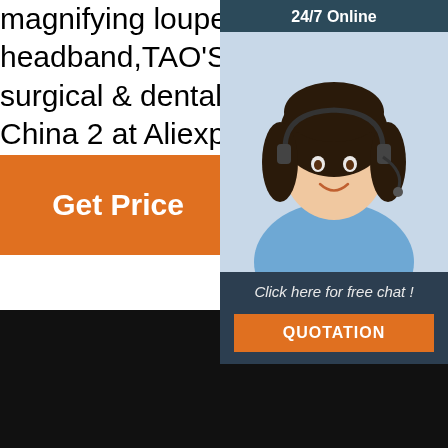magnifying loupe dental equipment surgical loupes with headband,TAO'S Headband 2.5X working distance 420mm surgical & dental loupes and more On Sale, Find the Best China 2 at Aliexpress.com - loupes dental,magnifier loupe,surgical loupes,de...
Get Price
[Figure (infographic): 24/7 Online chat widget with woman wearing headset, 'Click here for free chat!' text, and orange QUOTATION button]
OIL STAIN PROOF AND EASY TO CLEAN
Lens plating waterproof and oil proof film
Sweat is not easy to adhere to keep the lens clear
[Figure (logo): TOP logo with orange dots arranged in arc above 'TOP' text in orange on dark background]